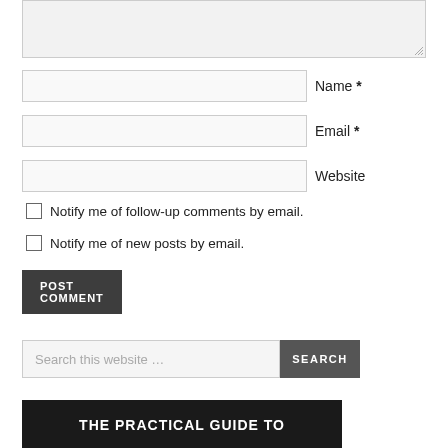[Figure (screenshot): Textarea input box for comment text, partially visible at top]
Name *
Email *
Website
Notify me of follow-up comments by email.
Notify me of new posts by email.
POST COMMENT
Search this website …
THE PRACTICAL GUIDE TO